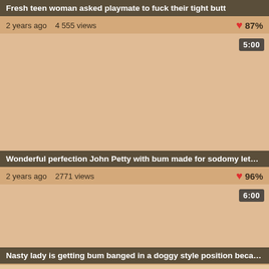Fresh teen woman asked playmate to fuck their tight butt
2 years ago  4 555 views  87%
[Figure (other): Video thumbnail placeholder, beige/tan color with duration badge 5:00]
Wonderful perfection John Petty with bum made for sodomy lets bf to go in deep and h...
2 years ago  2771 views  96%
[Figure (other): Video thumbnail placeholder, beige/tan color with duration badge 6:00]
Nasty lady is getting bum banged in a doggy style position because she needs some c